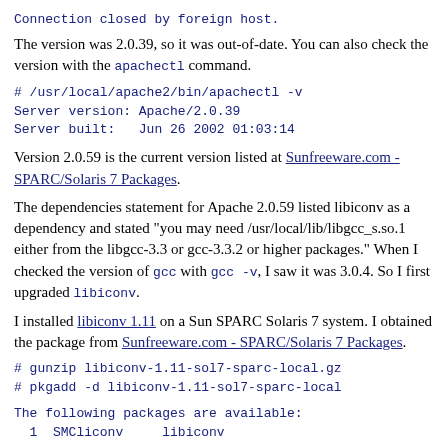Connection closed by foreign host.
The version was 2.0.39, so it was out-of-date. You can also check the version with the apachectl command.
# /usr/local/apache2/bin/apachectl -v
Server version: Apache/2.0.39
Server built:   Jun 26 2002 01:03:14
Version 2.0.59 is the current version listed at Sunfreeware.com - SPARC/Solaris 7 Packages.
The dependencies statement for Apache 2.0.59 listed libiconv as a dependency and stated "you may need /usr/local/lib/libgcc_s.so.1 either from the libgcc-3.3 or gcc-3.3.2 or higher packages." When I checked the version of gcc with gcc -v, I saw it was 3.0.4. So I first upgraded libiconv.
I installed libiconv 1.11 on a Sun SPARC Solaris 7 system. I obtained the package from Sunfreeware.com - SPARC/Solaris 7 Packages.
# gunzip libiconv-1.11-sol7-sparc-local.gz
# pkgadd -d libiconv-1.11-sol7-sparc-local
The following packages are available:
  1  SMCliconv     libiconv